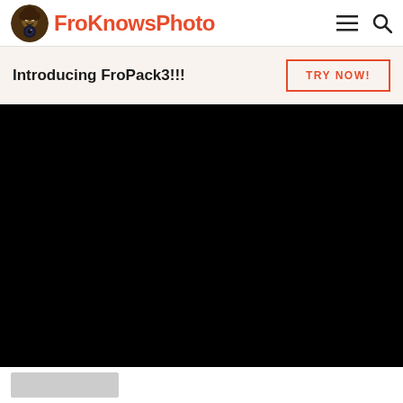FroKnowsPhoto
Introducing FroPack3!!!
TRY NOW!
[Figure (other): Black video player area embedded in the page, showing a dark/black screen (no content visible)]
[Figure (other): Partial thumbnail strip visible at bottom of page]